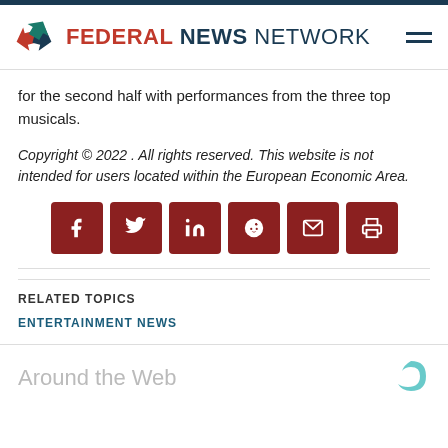FEDERAL NEWS NETWORK
for the second half with performances from the three top musicals.
Copyright © 2022 . All rights reserved. This website is not intended for users located within the European Economic Area.
[Figure (infographic): Social sharing buttons: Facebook, Twitter, LinkedIn, Reddit, Email, Print]
RELATED TOPICS
ENTERTAINMENT NEWS
Around the Web